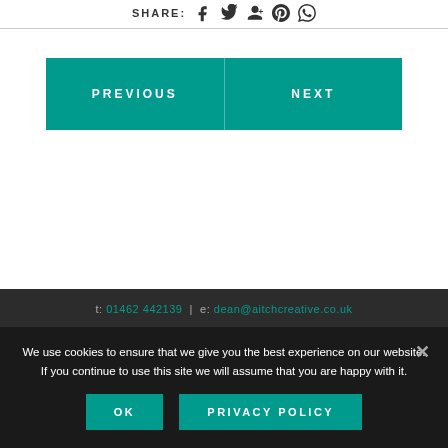SHARE: f t G+ p w
PREVIOUS
NEXT
t: 01462 442139 | e: dean@aitchcreative.co.uk
We use cookies to ensure that we give you the best experience on our website. If you continue to use this site we will assume that you are happy with it.
OK
PRIVACY POLICY